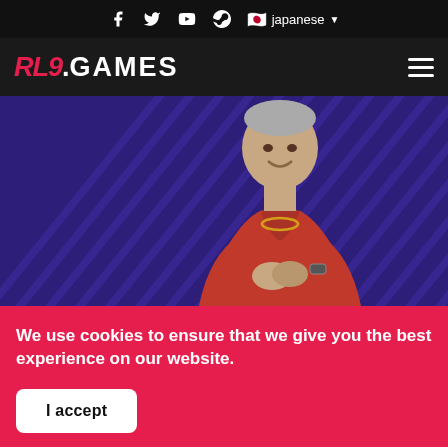RL9.GAMES - navigation with social icons and japanese language selector
[Figure (screenshot): Hero image of a man in a red shirt posing against a purple diagonal-striped background]
We use cookies to ensure that we give you the best experience on our website.
I accept